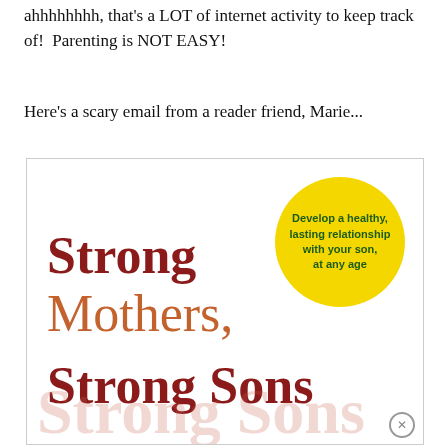ahhhhhhhh, that's a LOT of internet activity to keep track of!  Parenting is NOT EASY!
Here's a scary email from a reader friend, Marie...
[Figure (photo): Book cover of 'Strong Mothers, Strong Sons' with a yellow circle badge reading 'Develop a healthy, lasting relationship with your son, at any age'. The title text is in dark red and orange serif font. A faded watermark of 'Strong Sons' appears at the bottom.]